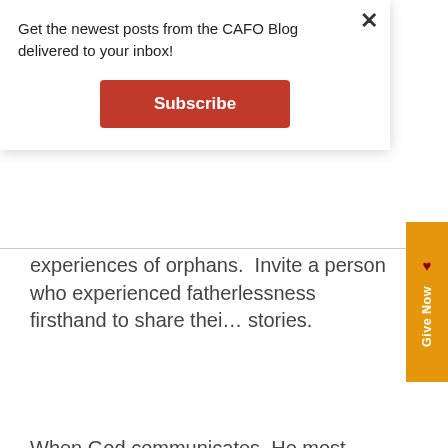Get the newest posts from the CAFO Blog delivered to your inbox!
Subscribe
experiences of orphans.  Invite a person who experienced fatherlessness firsthand to share their stories.
When God communicates, He most always does this kind of thing.  We'd be wise to do so as well.
[Figure (photo): Photo of hands holding a cup/container near a yellow bucket, with people in background]
Give Now